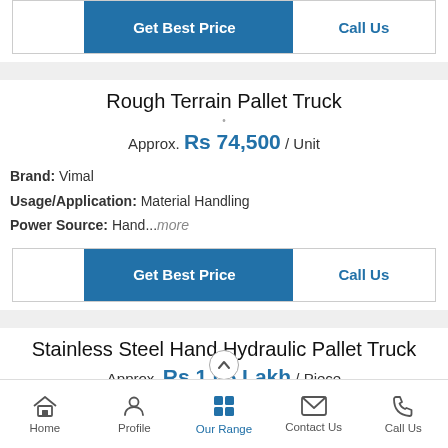[Figure (screenshot): Get Best Price and Call Us buttons row at top]
Rough Terrain Pallet Truck
Approx. Rs 74,500 / Unit
Brand: Vimal
Usage/Application: Material Handling
Power Source: Hand...more
[Figure (screenshot): Get Best Price and Call Us buttons row]
Stainless Steel Hand Hydraulic Pallet Truck
Approx. Rs 1.05 Lakh / Piece
Home   Profile   Our Range   Contact Us   Call Us